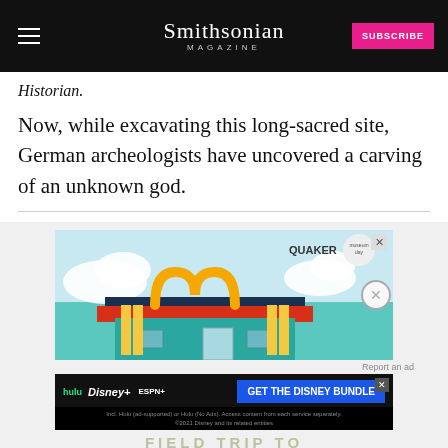Smithsonian Magazine — SUBSCRIBE
Historian.
Now, while excavating this long-sacred site, German archeologists have uncovered a carving of an unknown god.
[Figure (illustration): Advertisement: Quaker Museum Day — illustration of a building with golden arches motif and pencils as pillars, clouds in background]
[Figure (illustration): Advertisement: Get the Disney Bundle — Hulu, Disney+, ESPN+ logos with blue call-to-action button. Fine print: Incl. Hulu (ad-supported) or Hulu (No Ads). Access content from each service separately. ©2021 Disney and its related entities.]
FIELD TRIP TO